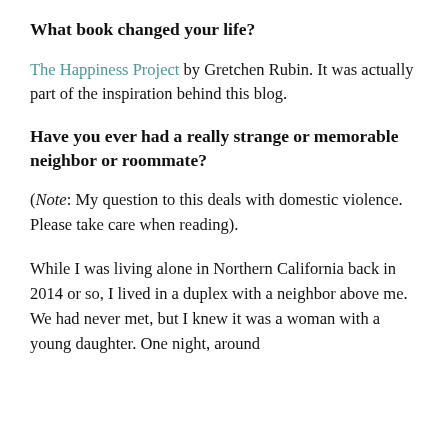What book changed your life?
The Happiness Project by Gretchen Rubin. It was actually part of the inspiration behind this blog.
Have you ever had a really strange or memorable neighbor or roommate?
(Note: My question to this deals with domestic violence. Please take care when reading).
While I was living alone in Northern California back in 2014 or so, I lived in a duplex with a neighbor above me. We had never met, but I knew it was a woman with a young daughter. One night, around 9:00, I woke to the sound of a woman. It was